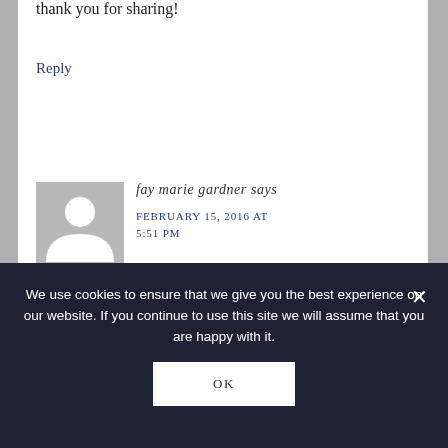thank you for sharing!
Reply
[Figure (illustration): Default user avatar — gray square with white silhouette of a person (head circle + shoulder arc)]
fay marie gardner says
FEBRUARY 15, 2016 AT 5:51 PM
Hi fl...
We use cookies to ensure that we give you the best experience on our website. If you continue to use this site we will assume that you are happy with it.
OK